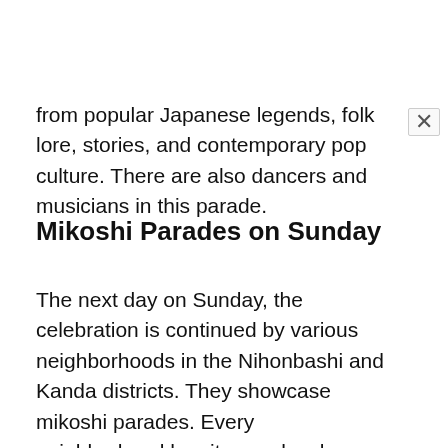from popular Japanese legends, folk lore, stories, and contemporary pop culture. There are also dancers and musicians in this parade.
Mikoshi Parades on Sunday
The next day on Sunday, the celebration is continued by various neighborhoods in the Nihonbashi and Kanda districts. They showcase mikoshi parades. Every neighborhood has its own local guardian deity called origami who is believed to look after the community and all the families living there. These ujigamis are housed in mikoshis and paraded across the streets to bells the residents. This parade is full of life and fun. People